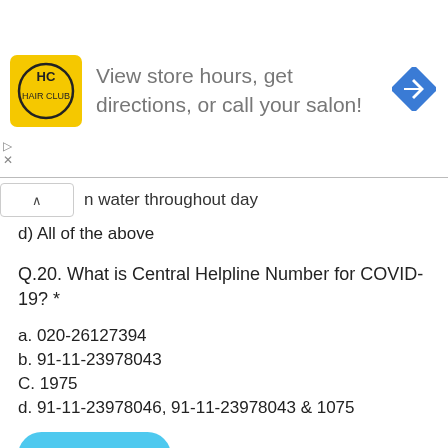[Figure (infographic): Advertisement banner: HC logo (yellow square with HC text), text 'View store hours, get directions, or call your salon!', and a blue diamond navigation arrow icon on the right.]
n water throughout day
d) All of the above
Q.20. What is Central Helpline Number for COVID-19? *
a. 020-26127394
b. 91-11-23978043
C. 1975
d. 91-11-23978046, 91-11-23978043 & 1075
Apply Now